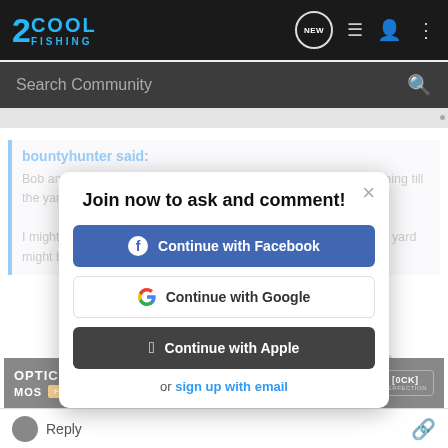[Figure (screenshot): 2Cool Fishing website header with logo, search bar, and navigation icons]
bountyhunter said:
Bob and Mrs. B, that was my thinking too, but I've been told no fishing till the yard is mowed.

I might have to use ole Scotty's talents if the rain doesn't stop. The yard might be full of all kinds of wild animals......LOL
A little more rain and maybe ya can fish the backyard pond. 😉
"Of all the liars among mankind, the fisherman is the most trustworthy." - William S
[Figure (screenshot): Modal popup: Join now to ask and comment! with Continue with Facebook, Continue with Google, Continue with Apple buttons and sign up with email link]
[Figure (screenshot): OPTIC READY SLIMLINE advertisement banner with MOS, FIND A DEALER, and Glock Perfection logo]